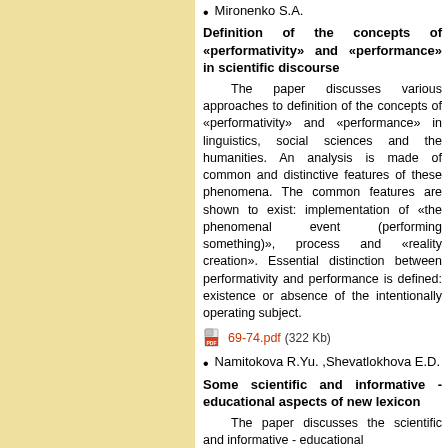Mironenko S.A.
Definition of the concepts of «performativity» and «performance» in scientific discourse
The paper discusses various approaches to definition of the concepts of «performativity» and «performance» in linguistics, social sciences and the humanities. An analysis is made of common and distinctive features of these phenomena. The common features are shown to exist: implementation of «the phenomenal event (performing something)», process and «reality creation». Essential distinction between performativity and performance is defined: existence or absence of the intentionally operating subject.
69-74.pdf (322 Kb)
Namitokova R.Yu. ,Shevatlokhova E.D.
Some scientific and informative - educational aspects of new lexicon
The paper discusses the scientific and informative - educational